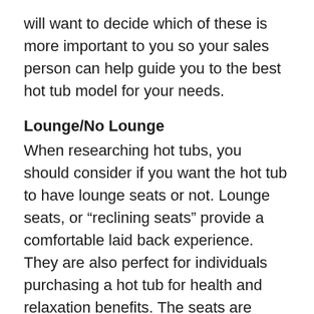will want to decide which of these is more important to you so your sales person can help guide you to the best hot tub model for your needs.
Lounge/No Lounge
When researching hot tubs, you should consider if you want the hot tub to have lounge seats or not. Lounge seats, or “reclining seats” provide a comfortable laid back experience. They are also perfect for individuals purchasing a hot tub for health and relaxation benefits. The seats are molded in a laid-back position and typically include a series of jets for more relaxation. When deciding if you want a lounge seat or not, you